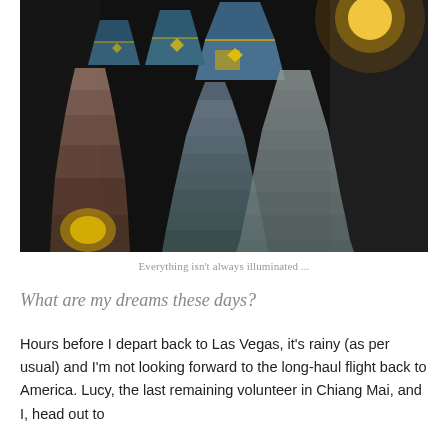[Figure (photo): Night photograph of colorful hanging lanterns and decorations illuminated in the dark, with blue, gold, and grey paper ornaments suspended from the ceiling]
Everything isn't always illuminated ...
What are my dreams these days?
Hours before I depart back to Las Vegas, it's rainy (as per usual) and I'm not looking forward to the long-haul flight back to America. Lucy, the last remaining volunteer in Chiang Mai, and I, head out to